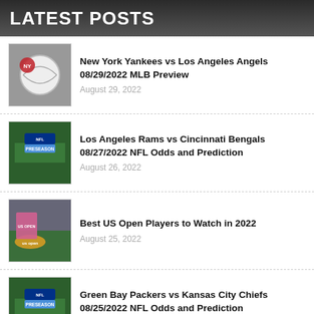LATEST POSTS
New York Yankees vs Los Angeles Angels 08/29/2022 MLB Preview | August 29, 2022
Los Angeles Rams vs Cincinnati Bengals 08/27/2022 NFL Odds and Prediction | August 26, 2022
Best US Open Players to Watch in 2022 | August 25, 2022
Green Bay Packers vs Kansas City Chiefs 08/25/2022 NFL Odds and Prediction | August 24, 2022
Miami Marlins vs Oakland Athletics